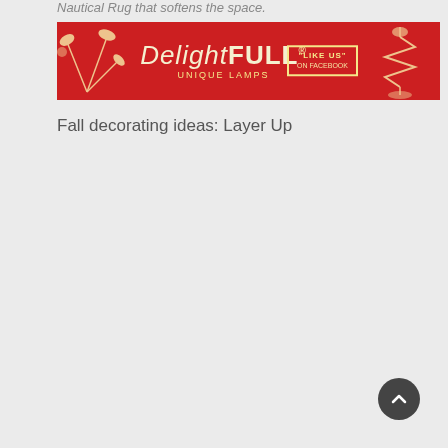Nautical Rug that softens the space.
[Figure (illustration): Red banner advertisement for DelightFULL Unique Lamps with decorative lamp art on the left and right, a 'LIKE US' box in yellow, and the brand name in cream/yellow text on a red background.]
Fall decorating ideas: Layer Up